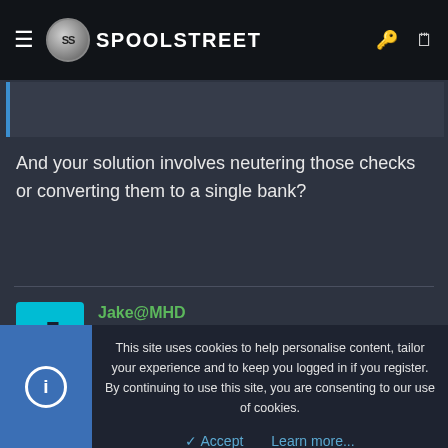SPOOLSTREET
And your solution involves neutering those checks or converting them to a single bank?
Jake@MHD
Major  Platinum Vendor
Feb 14, 2017  #6
This site uses cookies to help personalise content, tailor your experience and to keep you logged in if you register.
By continuing to use this site, you are consenting to our use of cookies.
Accept  Learn more...